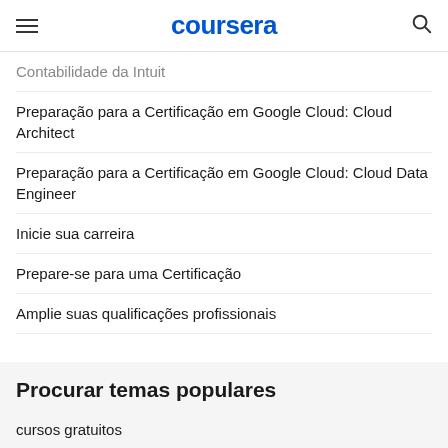coursera
Contabilidade da Intuit
Preparação para a Certificação em Google Cloud: Cloud Architect
Preparação para a Certificação em Google Cloud: Cloud Data Engineer
Inicie sua carreira
Prepare-se para uma Certificação
Amplie suas qualificações profissionais
Procurar temas populares
cursos gratuitos
Aprenda um idioma
pythonpython